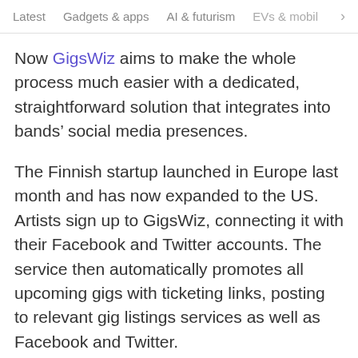Latest   Gadgets & apps   AI & futurism   EVs & mobil  >
Now GigsWiz aims to make the whole process much easier with a dedicated, straightforward solution that integrates into bands’ social media presences.
The Finnish startup launched in Europe last month and has now expanded to the US. Artists sign up to GigsWiz, connecting it with their Facebook and Twitter accounts. The service then automatically promotes all upcoming gigs with ticketing links, posting to relevant gig listings services as well as Facebook and Twitter.
Thanks for joining us!
See the highlights of TNW Conference 2022